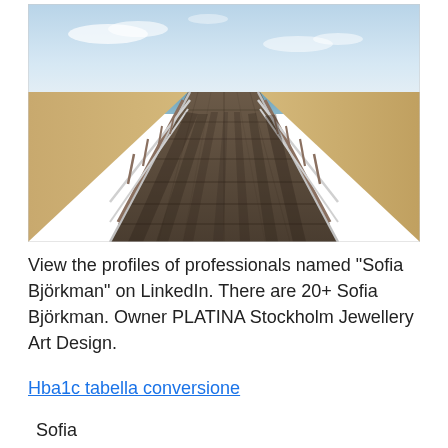[Figure (photo): A wooden boardwalk pier extending toward the ocean horizon, flanked by metal railings, with sandy beach on either side and a blue sky with light clouds above.]
View the profiles of professionals named "Sofia Björkman" on LinkedIn. There are 20+ Sofia Björkman. Owner PLATINA Stockholm Jewellery Art Design.
Hba1c tabella conversione
Sofia